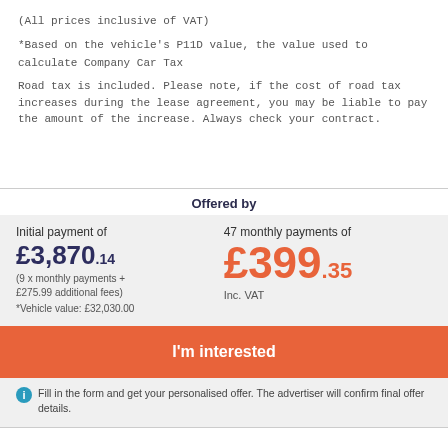(All prices inclusive of VAT)
*Based on the vehicle's P11D value, the value used to calculate Company Car Tax
Road tax is included. Please note, if the cost of road tax increases during the lease agreement, you may be liable to pay the amount of the increase. Always check your contract.
Offered by
Initial payment of
£3,870.14
(9 x monthly payments + £275.99 additional fees)
*Vehicle value: £32,030.00
47 monthly payments of
£399.35
Inc. VAT
I'm interested
Fill in the form and get your personalised offer. The advertiser will confirm final offer details.